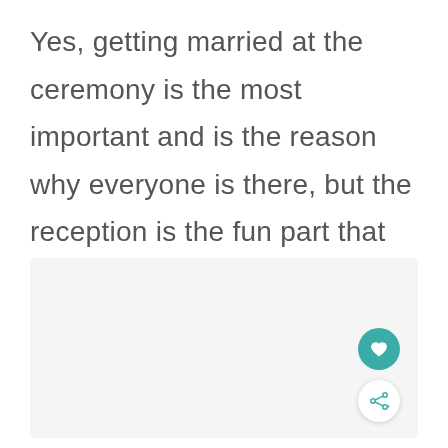Yes, getting married at the ceremony is the most important and is the reason why everyone is there, but the reception is the fun part that everyone looks forward to.
[Figure (other): A light gray rectangular placeholder image area at the bottom portion of the page, with a teal heart button and a white share button overlaid in the bottom-right corner.]